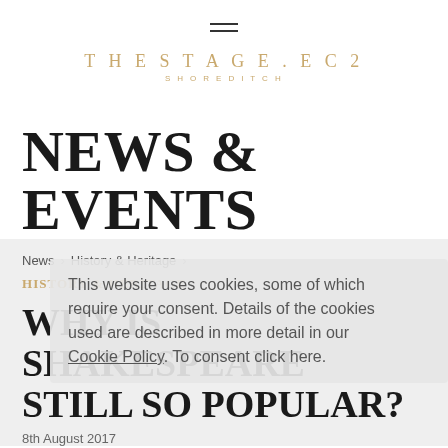THESTAGE.EC2 SHOREDITCH
NEWS & EVENTS
News > History & Heritage >
This website uses cookies, some of which require your consent. Details of the cookies used are described in more detail in our Cookie Policy. To consent click here.
HISTORY & HERITAGE
WHY IS SHAKESPEARE STILL SO POPULAR?
8th August 2017